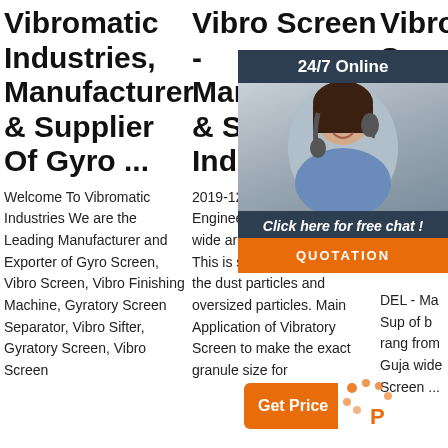Vibromatic Industries, Manufacturer & Supplier Of Gyro ...
Welcome To Vibromatic Industries We are the Leading Manufacturer and Exporter of Gyro Screen, Vibro Screen, Vibro Finishing Machine, Gyratory Screen Separator, Vibro Sifter, Gyratory Screen, Vibro Screen
Vibro Screen - Manufacturer & Supplier In India
2019-12-31 · Shakti Engineering Works Offers a wide array of Vibro Screen. This is suitable for removing the dust particles and oversized particles. Main Application of Vibratory Screen to make the exact granule size for
Vibro Screen M...
DEL - Ma Sup of b rang from Guja wide Screen ...
[Figure (infographic): Chat widget overlay with woman wearing headset, 24/7 Online label, Click here for free chat!, and QUOTATION button in orange]
[Figure (infographic): Get Price button in orange with decorative dots icon]